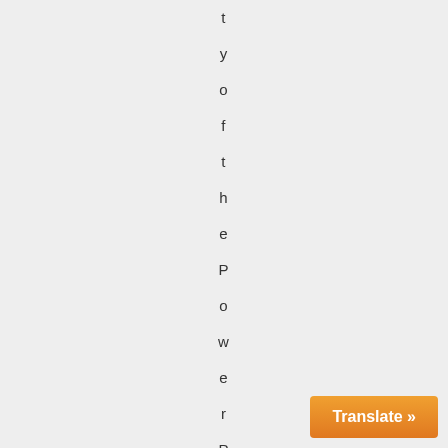t y o f t h e P o w e r P a l l e t , a n d 3
Translate »